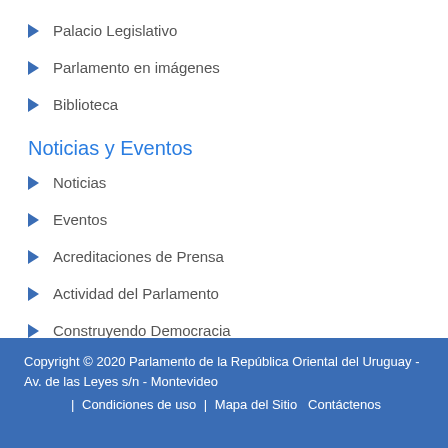Palacio Legislativo
Parlamento en imágenes
Biblioteca
Noticias y Eventos
Noticias
Eventos
Acreditaciones de Prensa
Actividad del Parlamento
Construyendo Democracia
Copyright © 2020 Parlamento de la República Oriental del Uruguay - Av. de las Leyes s/n - Montevideo | Condiciones de uso | Mapa del Sitio Contáctenos